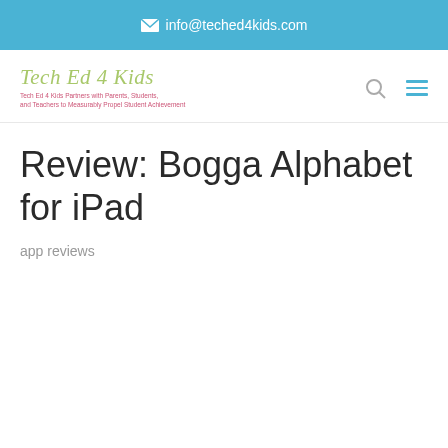✉ info@teched4kids.com
[Figure (logo): Tech Ed 4 Kids logo with italic green text title and pink subtitle: Tech Ed 4 Kids Partners with Parents, Students, and Teachers to Measurably Propel Student Achievement]
Review: Bogga Alphabet for iPad
app reviews